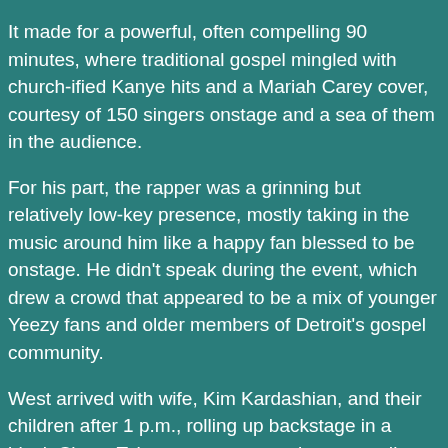It made for a powerful, often compelling 90 minutes, where traditional gospel mingled with church-ified Kanye hits and a Mariah Carey cover, courtesy of 150 singers onstage and a sea of them in the audience.
For his part, the rapper was a grinning but relatively low-key presence, mostly taking in the music around him like a happy fan blessed to be onstage. He didn't speak during the event, which drew a crowd that appeared to be a mix of younger Yeezy fans and older members of Detroit's gospel community.
West arrived with wife, Kim Kardashian, and their children after 1 p.m., rolling up backstage in a black Chevy Tahoe to commence the proceedings — the latest in a series of Sunday Services launched by the hip-hop star at his L.A. home in January.
Kardashian perched by an onstage organ as a stirring swell of gospel